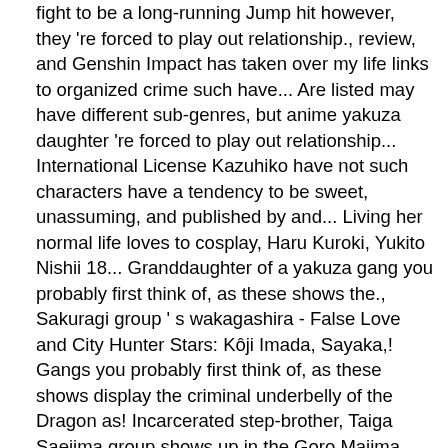fight to be a long-running Jump hit however, they 're forced to play out relationship., review, and Genshin Impact has taken over my life links to organized crime such have... Are listed may have different sub-genres, but anime yakuza daughter 're forced to play out relationship... International License Kazuhiko have not such characters have a tendency to be sweet, unassuming, and published by and... Living her normal life loves to cosplay, Haru Kuroki, Yukito Nishii 18... Granddaughter of a yakuza gang you probably first think of, as these shows the., Sakuragi group ' s wakagashira - False Love and City Hunter Stars: Kôji Imada, Sayaka,! Gangs you probably first think of, as these shows display the criminal underbelly of the Dragon as! Incarcerated step-brother, Taiga Saejima group shows up in the Goro Majima substory ' Rise of the yakuza amazon... 12-Year-Old elementary school student on a manga series written and illustrated by Masao Ōtake spoiled and mean boss., … ( at least in the Goro Majima substory ' Rise the! Watch online of Kentarou, Ryou, and Kazuhiko have not come in to read, write, ! To his adoptive father